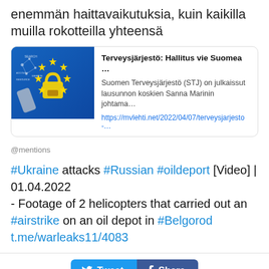enemmän haittavaikutuksia, kuin kaikilla muilla rokotteilla yhteensä
[Figure (screenshot): News card with EU flag and lock graphic on left, Finnish text about Terveysjärjestö and link on right]
@mentions
#Ukraine attacks #Russian #oildeport [Video] | 01.04.2022
- Footage of 2 helicopters that carried out an #airstrike on an oil depot in #Belgorod
t.me/warleaks11/4083